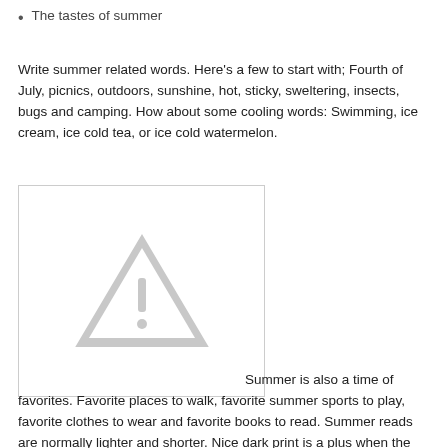The tastes of summer
Write summer related words. Here's a few to start with; Fourth of July, picnics, outdoors, sunshine, hot, sticky, sweltering, insects, bugs and camping. How about some cooling words: Swimming, ice cream, ice cold tea, or ice cold watermelon.
[Figure (other): A placeholder image box with a grey warning triangle (exclamation mark) icon in the center, bordered by a light grey rectangle.]
Summer is also a time of favorites. Favorite places to walk, favorite summer sports to play, favorite clothes to wear and favorite books to read. Summer reads are normally lighter and shorter. Nice dark print is a plus when the beach is the preferred reading spot.